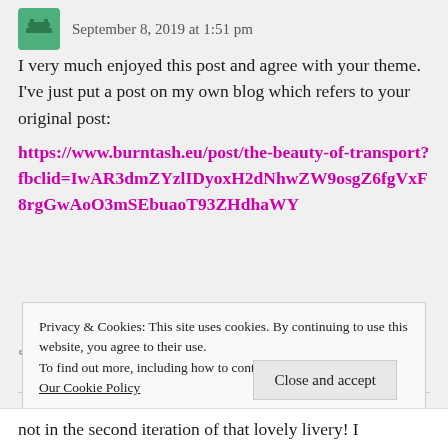September 8, 2019 at 1:51 pm
I very much enjoyed this post and agree with your theme. I've just put a post on my own blog which refers to your original post: https://www.burntash.eu/post/the-beauty-of-transport?fbclid=IwAR3dmZYzlIDyoxH2dNhwZW9osgZ6fgVxF8rgGwAoO3mSEbuaoT93ZHdhaWY
Reply
Privacy & Cookies: This site uses cookies. By continuing to use this website, you agree to their use.
To find out more, including how to control cookies, see here:
Our Cookie Policy
Close and accept
not in the second iteration of that lovely livery! I